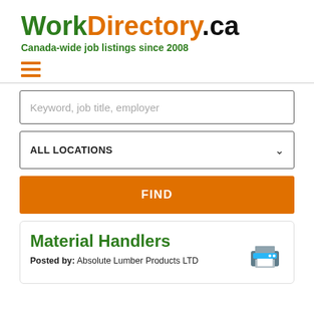WorkDirectory.ca — Canada-wide job listings since 2008
[Figure (other): Hamburger menu icon (three horizontal orange lines)]
Keyword, job title, employer
ALL LOCATIONS
FIND
Material Handlers
Posted by: Absolute Lumber Products LTD
[Figure (illustration): Printer icon in blue and grey]